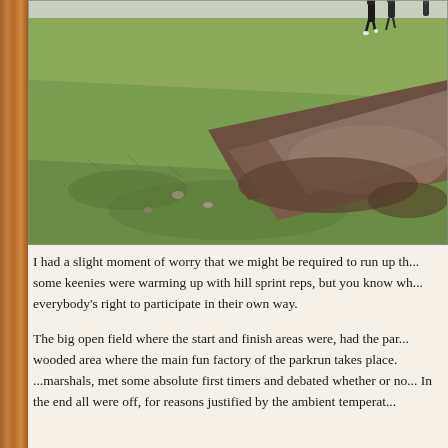[Figure (photo): A grassy open field with a muddy dirt path/track, slight hill visible. In the top right corner, several people (runners) can be seen at the top of the hill. The scene appears to be a parkrun event location.]
I had a slight moment of worry that we might be required to run up th... some keenies were warming up with hill sprint reps, but you know wh... everybody's right to participate in their own way.
The big open field where the start and finish areas were, had the par... wooded area where the main fun factory of the parkrun takes place. ...marshals, met some absolute first timers and debated whether or no... In the end all were off, for reasons justified by the ambient temperat...